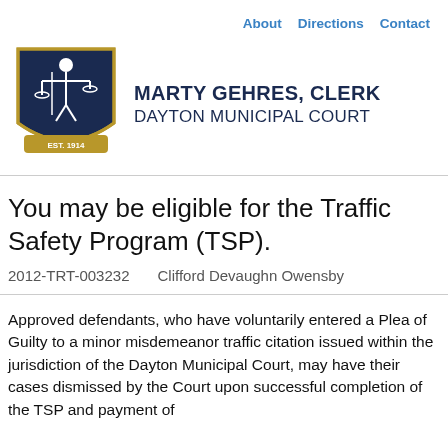About   Directions   Contact
[Figure (logo): Dayton Municipal Court seal/shield with Lady Justice figure, dark navy blue, EST. 1914 ribbon at bottom]
MARTY GEHRES, CLERK DAYTON MUNICIPAL COURT
You may be eligible for the Traffic Safety Program (TSP).
2012-TRT-003232    Clifford Devaughn Owensby
Approved defendants, who have voluntarily entered a Plea of Guilty to a minor misdemeanor traffic citation issued within the jurisdiction of the Dayton Municipal Court, may have their cases dismissed by the Court upon successful completion of the TSP and payment of